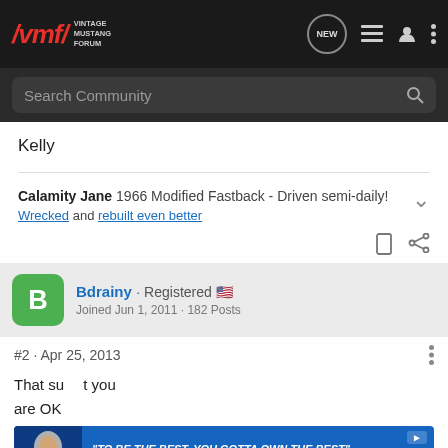Vintage Mustang Forum
Kelly
Calamity Jane 1966 Modified Fastback - Driven semi-daily! Wrecked and rebuilt even better
Bdrainy · Registered · Joined Jun 1, 2011 · 182 Posts
#2 · Apr 25, 2013
That su... t you are OK
[Figure (screenshot): Advertisement banner: TO BE THE BEST, YOU GOTTA OWN THE BEST - VAUGHN GITTIN JR DRIFTER, ULTRA4 RACER]